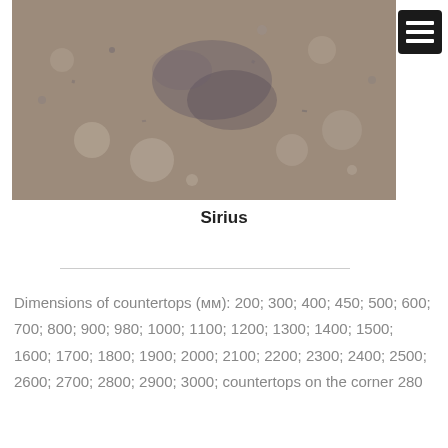[Figure (photo): Close-up photo of a stone/granite surface texture in grey-brown tones with mottled pattern — used as a countertop material sample named Sirius]
Sirius
Dimensions of countertops (мм): 200; 300; 400; 450; 500; 600; 700; 800; 900; 980; 1000; 1100; 1200; 1300; 1400; 1500; 1600; 1700; 1800; 1900; 2000; 2100; 2200; 2300; 2400; 2500; 2600; 2700; 2800; 2900; 3000; countertops on the corner 280